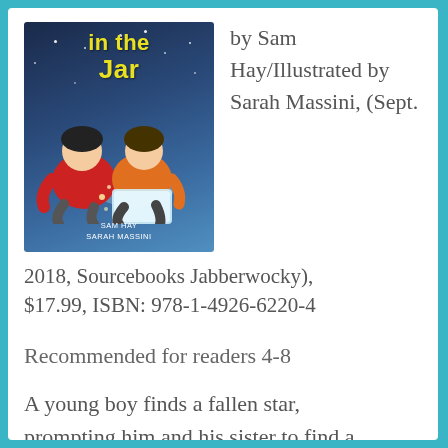[Figure (illustration): Book cover illustration showing two children (one in red, one in orange) sitting together at night reading, with stars in a dark blue sky background and yellow title text reading 'in the Jar'. Authors listed as SAM HAY and SARAH MASSINI.]
by Sam Hay/Illustrated by Sarah Massini, (Sept. 2018, Sourcebooks Jabberwocky), $17.99, ISBN: 978-1-4926-6220-4
Recommended for readers 4-8
A young boy finds a fallen star, prompting him and his sister to find a